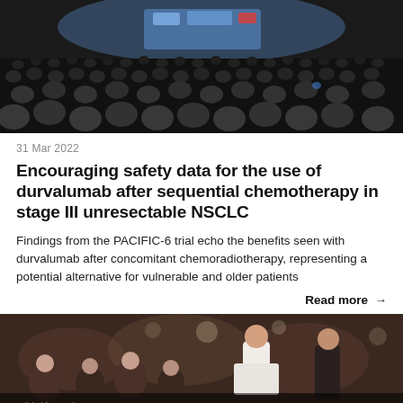[Figure (photo): Large conference hall audience viewed from behind, with a lit stage and blue screens at the front]
31 Mar 2022
Encouraging safety data for the use of durvalumab after sequential chemotherapy in stage III unresectable NSCLC
Findings from the PACIFIC-6 trial echo the benefits seen with durvalumab after concomitant chemoradiotherapy, representing a potential alternative for vulnerable and older patients
Read more →
[Figure (photo): Crowded conference networking area with attendees mingling, partially visible text overlay at bottom]